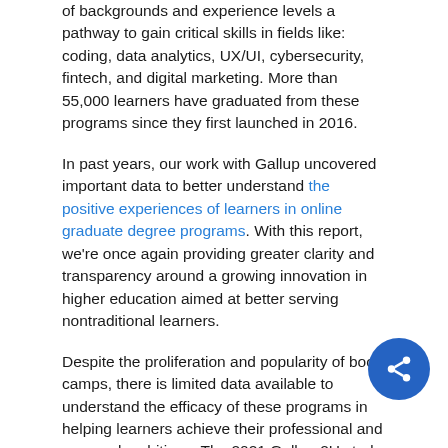of backgrounds and experience levels a pathway to gain critical skills in fields like: coding, data analytics, UX/UI, cybersecurity, fintech, and digital marketing. More than 55,000 learners have graduated from these programs since they first launched in 2016.
In past years, our work with Gallup uncovered important data to better understand the positive experiences of learners in online graduate degree programs. With this report, we're once again providing greater clarity and transparency around a growing innovation in higher education aimed at better serving nontraditional learners.
Despite the proliferation and popularity of boot camps, there is limited data available to understand the efficacy of these programs in helping learners achieve their professional and personal ambitions. The 2021 Gallup-2U study was conducted to uncover data on the impact university boot camp programs are having on graduates nationwide.